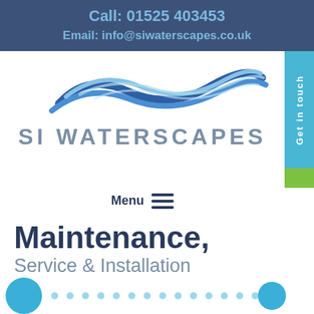Call: 01525 403453
Email: info@siwaterscapes.co.uk
[Figure (logo): SI Waterscapes logo with blue wave illustration above the company name]
Menu
Maintenance,
Service & Installation